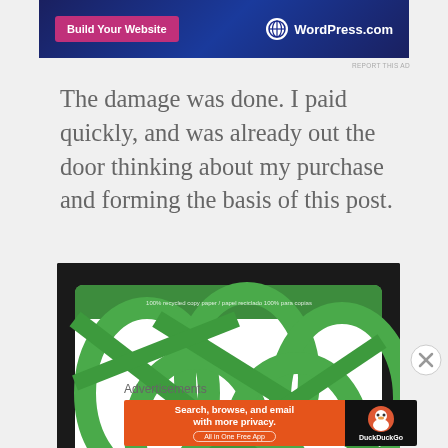[Figure (screenshot): WordPress.com banner advertisement with 'Build Your Website' pink button on dark blue background]
REPORT THIS AD
The damage was done. I paid quickly, and was already out the door thinking about my purchase and forming the basis of this post.
[Figure (photo): Close-up photo of green recycled copy paper with decorative circular leaf pattern on the cover, on a dark background. Text on package reads: '100% recycled copy paper / papel reciclado 100% para copias']
Advertisements
[Figure (screenshot): DuckDuckGo advertisement: 'Search, browse, and email with more privacy. All in One Free App' with DuckDuckGo duck logo on black background]